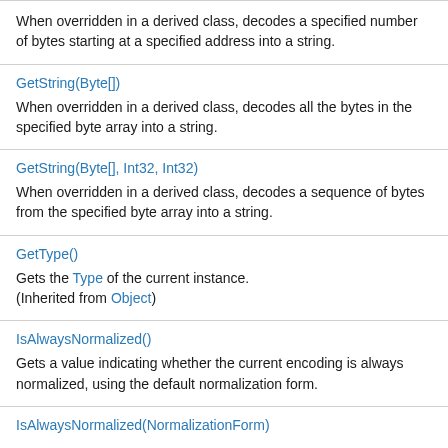When overridden in a derived class, decodes a specified number of bytes starting at a specified address into a string.
GetString(Byte[])
When overridden in a derived class, decodes all the bytes in the specified byte array into a string.
GetString(Byte[], Int32, Int32)
When overridden in a derived class, decodes a sequence of bytes from the specified byte array into a string.
GetType()
Gets the Type of the current instance.
(Inherited from Object)
IsAlwaysNormalized()
Gets a value indicating whether the current encoding is always normalized, using the default normalization form.
IsAlwaysNormalized(NormalizationForm)